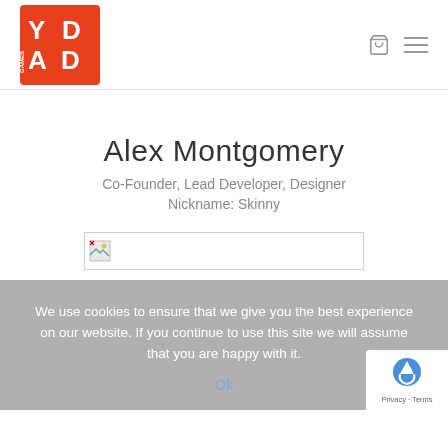YAD GAMES logo with navigation icons (cart, hamburger menu)
Alex Montgomery
Co-Founder, Lead Developer, Designer
Nickname: Skinny
[Figure (photo): Broken image placeholder]
We use cookies to ensure that we give you the best experience on our website. If you continue to use this site we will assume that you are happy with it.
Ok